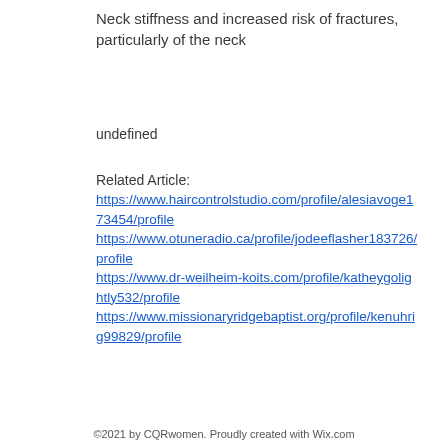Neck stiffness and increased risk of fractures, particularly of the neck
undefined
Related Article:
https://www.haircontrolstudio.com/profile/alesiavoge173454/profile
https://www.otuneradio.ca/profile/jodeeflasher183726/profile
https://www.dr-weilheim-koits.com/profile/katheygolightly532/profile
https://www.missionaryridgebaptist.org/profile/kenuhrig99829/profile
©2021 by CQRwomen. Proudly created with Wix.com